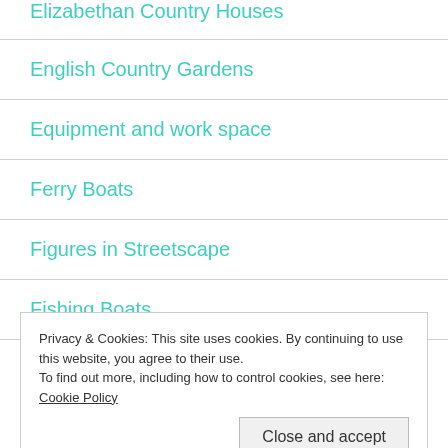Elizabethan Country Houses
English Country Gardens
Equipment and work space
Ferry Boats
Figures in Streetscape
Fishing Boats
Privacy & Cookies: This site uses cookies. By continuing to use this website, you agree to their use.
To find out more, including how to control cookies, see here: Cookie Policy
Fountains